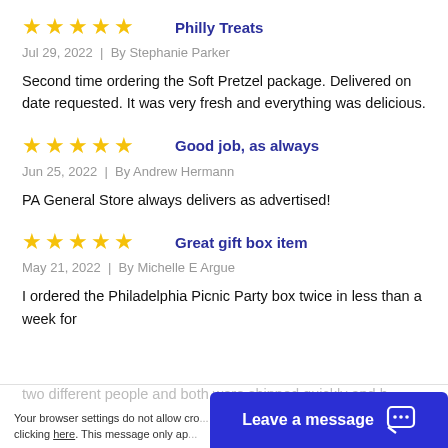Philly Treats
Jul 29, 2022  |  By Stephanie Parker
Second time ordering the Soft Pretzel package. Delivered on date requested. It was very fresh and everything was delicious.
Good job, as always
Jun 25, 2022  |  By Andrew Hermann
PA General Store always delivers as advertised!
Great gift box item
May 21, 2022  |  By Michelle E Argue
I ordered the Philadelphia Picnic Party box twice in less than a week for two different people and both were shipped quickly and b...
Accept and Close ✕
Your browser settings do not allow cross-site tracking. AdRoll to use cross-site tracking to tail by clicking here. This message only ap...
Leave a message